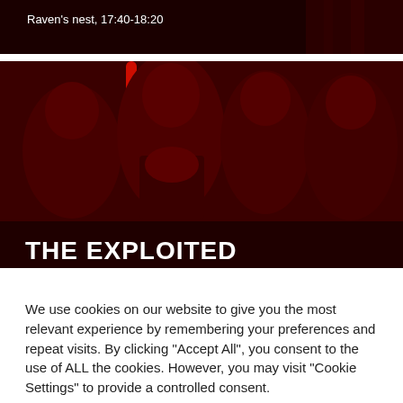Raven's nest, 17:40-18:20
[Figure (photo): Red-tinted band photo of The Exploited, four band members posing in front of a dark background. The central figure has a mohawk and wears an Exploited t-shirt. Text overlay at bottom reads 'THE EXPLOITED'.]
We use cookies on our website to give you the most relevant experience by remembering your preferences and repeat visits. By clicking "Accept All", you consent to the use of ALL the cookies. However, you may visit "Cookie Settings" to provide a controlled consent.